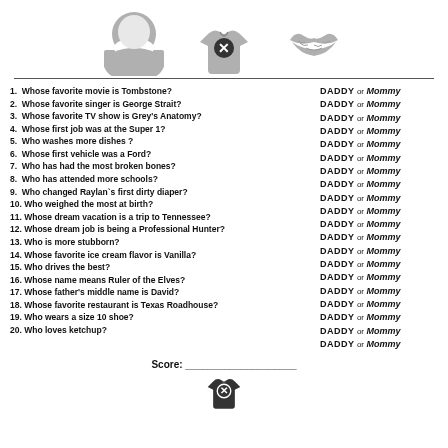[Figure (illustration): Top decorative icons: a grey beard silhouette on the left, a baby onesie with X mark in the center, and a grey lips/kiss print on the right. A horizontal line divides the icons from the content below.]
1. Whose favorite movie is Tombstone?
2. Whose favorite singer is George Strait?
3. Whose favorite TV show is Grey's Anatomy?
4. Whose first job was at the Super 1?
5. Who washes more dishes ?
6. Whose first vehicle was a Ford?
7. Who has had the most broken bones?
8. Who has attended more schools?
9. Who changed Raylan`s first dirty diaper?
10. Who weighed the most at birth?
11. Whose dream vacation is a trip to Tennessee?
12. Whose dream job is being a Professional Hunter?
13. Who is more stubborn?
14. Whose favorite ice cream flavor is Vanilla?
15. Who drives the best?
16. Whose name means Ruler of the Elves?
17. Whose father's middle name is David?
18. Whose favorite restaurant is Texas Roadhouse?
19. Who wears a size 10 shoe?
20. Who loves ketchup?
Score: ____________________
[Figure (illustration): Baby onesie icon with X mark at the bottom of the page]